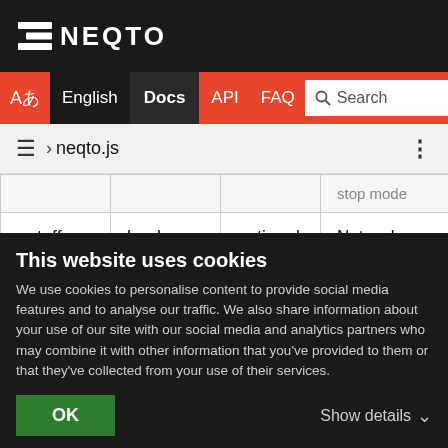[Figure (logo): NEQTO logo with white text and icon on dark background]
Aあ  English  Docs  API  FAQ  Search
≡ › neqto.js  ⋮
|  |  |  | stop mode |
| --- | --- | --- | --- |
| netoff | boolean | optional | Network s
true: Enab
false: Disa
The defau |
This website uses cookies
We use cookies to personalise content to provide social media features and to analyse our traffic. We also share information about your use of our site with our social media and analytics partners who may combine it with other information that you've provided to them or that they've collected from your use of their services.
OK  Show details